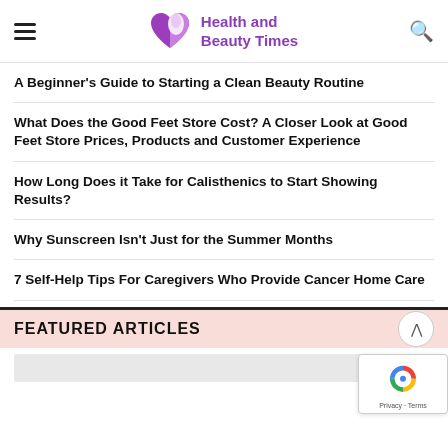Health and Beauty Times
A Beginner's Guide to Starting a Clean Beauty Routine
What Does the Good Feet Store Cost? A Closer Look at Good Feet Store Prices, Products and Customer Experience
How Long Does it Take for Calisthenics to Start Showing Results?
Why Sunscreen Isn't Just for the Summer Months
7 Self-Help Tips For Caregivers Who Provide Cancer Home Care
FEATURED ARTICLES